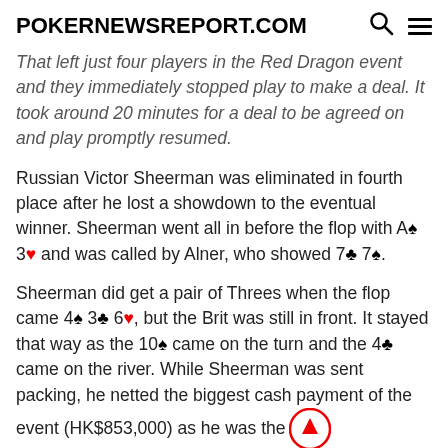POKERNEWSREPORT.COM
That left just four players in the Red Dragon event and they immediately stopped play to make a deal. It took around 20 minutes for a deal to be agreed on and play promptly resumed.
Russian Victor Sheerman was eliminated in fourth place after he lost a showdown to the eventual winner. Sheerman went all in before the flop with A♠ 3♥ and was called by Alner, who showed 7♣ 7♠.
Sheerman did get a pair of Threes when the flop came 4♠ 3♣ 6♥, but the Brit was still in front. It stayed that way as the 10♠ came on the turn and the 4♣ came on the river. While Sheerman was sent packing, he netted the biggest cash payment of the event (HK$853,000) as he was the chip leader when the deal was struck.